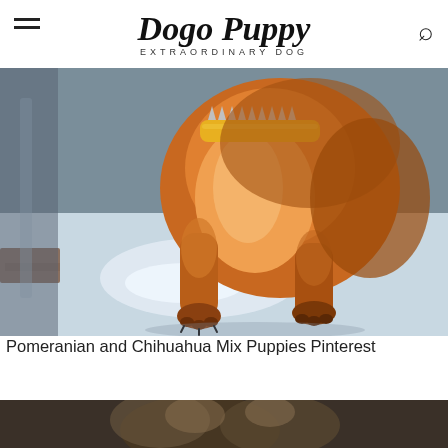Dogo Puppy — EXTRAORDINARY DOG
[Figure (photo): Close-up photo of a small fluffy orange/golden Pomeranian or Pomeranian-Chihuahua mix puppy with a yellow spiked collar, standing on a light-colored surface. The puppy's front legs and chest are in focus.]
Pomeranian and Chihuahua Mix Puppies Pinterest
[Figure (photo): Partial bottom photo showing another dog, darker tones, only top portion visible at page edge.]